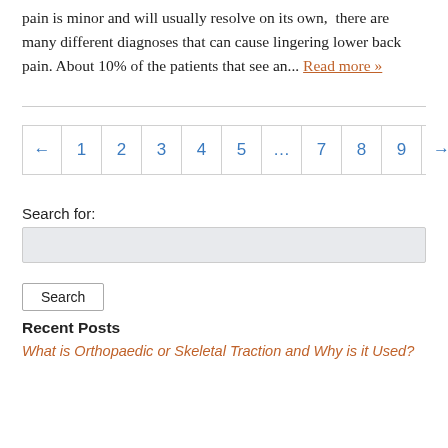pain is minor and will usually resolve on its own, there are many different diagnoses that can cause lingering lower back pain. About 10% of the patients that see an... Read more »
← 1 2 3 4 5 ... 7 8 9 →
Search for:
Search
Recent Posts
What is Orthopaedic or Skeletal Traction and Why is it Used?